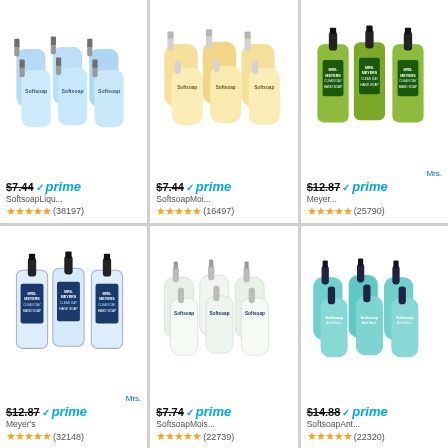[Figure (photo): 6-pack blue Softsoap liquid hand soap pump bottles]
$7.44 prime SoftsoapLiqu...
★★★★★ (38197)
[Figure (photo): 6-pack gold/cream Softsoap Milk & Golden Honey pump bottles]
$7.44 prime SoftsoapMoi...
★★★★★ (16497)
[Figure (photo): 3-pack Mrs. Meyers Clean Day hand soap green bottles with black pumps]
Mrs. $12.87 prime Meyer...
★★★★★ (25790)
[Figure (photo): 3-pack Mrs. Meyers Clean Day hand soap clear bottles with black pumps]
Mrs. $12.87 prime Meyer's
★★★★★ (32148)
[Figure (photo): 6-pack white Softsoap pump bottles]
$7.74 prime SoftsoapMois...
★★★★★ (22739)
[Figure (photo): 6-pack teal/green Softsoap antibacterial pump bottles]
$14.88 prime SoftsoapAnt...
★★★★★ (22320)